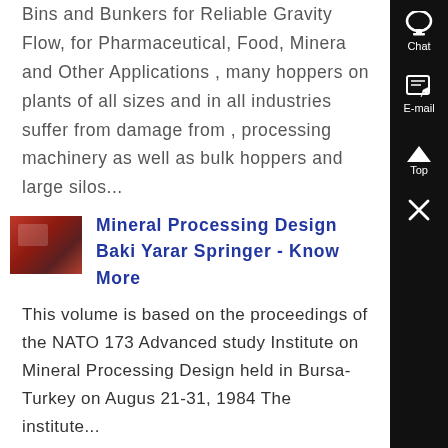Bins and Bunkers for Reliable Gravity Flow, for Pharmaceutical, Food, Mineral and Other Applications , many hoppers on plants of all sizes and in all industries suffer from damage from , processing machinery as well as bulk hoppers and large silos...
[Figure (photo): Thumbnail photo of industrial mineral processing equipment, reddish-brown tones]
Mineral Processing Design Baki Yarar Springer - Know More
This volume is based on the proceedings of the NATO 173 Advanced study Institute on Mineral Processing Design held in Bursa-Turkey on August 21-31, 1984 The institute...